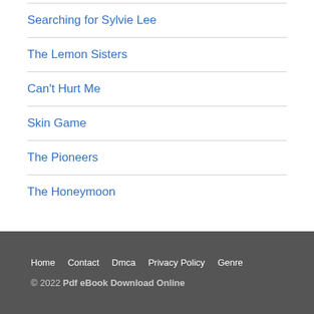Searching for Sylvie Lee
The Lemon Sisters
Can't Hurt Me
Skin Game
The Pioneers
The Honeymoon
Home  Contact  Dmca  Privacy Policy  Genre
© 2022 Pdf eBook Download Online